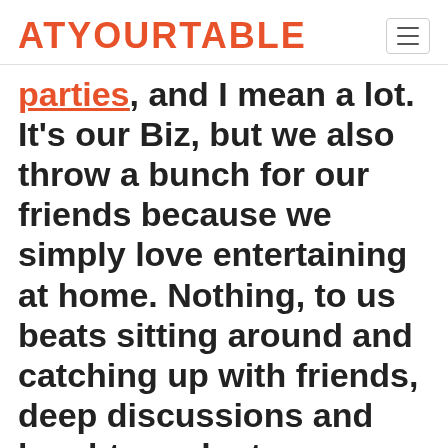ATYOURTABLE
parties, and I mean a lot. It's our Biz, but we also throw a bunch for our friends because we simply love entertaining at home. Nothing, to us beats sitting around and catching up with friends, deep discussions and laughter aplenty.
Without meaning to sound boastful, we do throw a damn fine dinner party and we are lucky